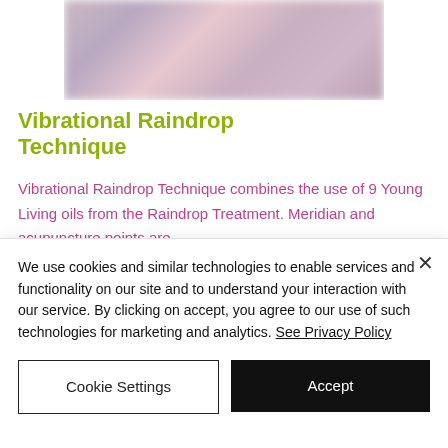[Figure (photo): Blurred close-up photo, soft pink and purple tones, partially cropped at top]
Vibrational Raindrop Technique
Vibrational Raindrop Technique combines the use of 9 Young Living oils from the Raindrop Treatment. Meridian and acupuncture points are
We use cookies and similar technologies to enable services and functionality on our site and to understand your interaction with our service. By clicking on accept, you agree to our use of such technologies for marketing and analytics. See Privacy Policy